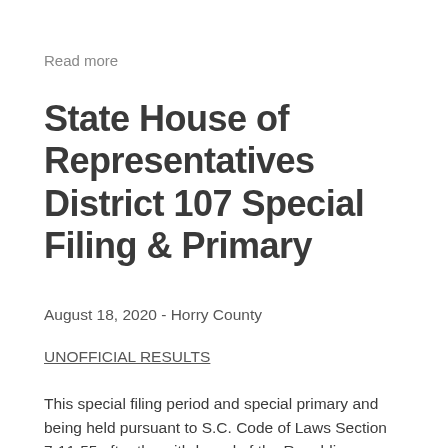Read more
State House of Representatives District 107 Special Filing & Primary
August 18, 2020 - Horry County
UNOFFICIAL RESULTS
This special filing period and special primary and being held pursuant to S.C. Code of Laws Section 7-11-55 after the withdrawal of the Republican nominee for State House of Representatives District 107.  Because the candidate who withdrew was unopposed in the General Election, this special